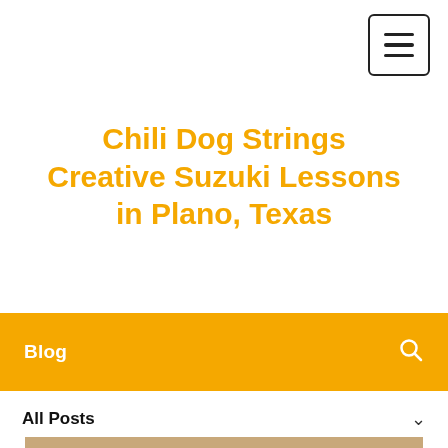[Figure (other): Hamburger menu button icon (three horizontal lines) in a rounded square border, positioned top right]
Chili Dog Strings Creative Suzuki Lessons in Plano, Texas
Blog
All Posts
[Figure (photo): Photo of children in a music lesson studio with colorful artwork on the wall, a plant, candles, and a striped chair. A child is visible in the foreground.]